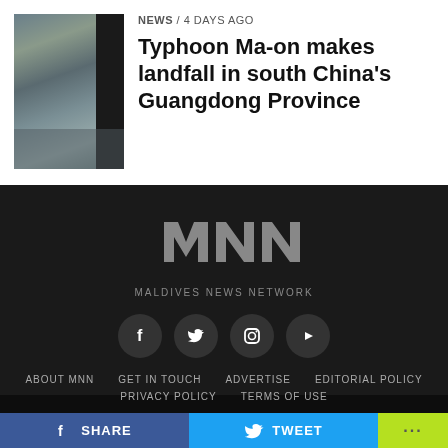[Figure (photo): Aerial or harbor photo of boats/ships in water, with dark panel on right side]
NEWS / 4 days ago
Typhoon Ma-on makes landfall in south China's Guangdong Province
[Figure (logo): MNN - Maldives News Network logo in grey on dark background]
MALDIVES NEWS NETWORK
[Figure (other): Social media icons row: Facebook, Twitter, Instagram, YouTube]
ABOUT MNN   GET IN TOUCH   ADVERTISE   EDITORIAL POLICY   PRIVACY POLICY   TERMS OF USE
SHARE   TWEET   ...